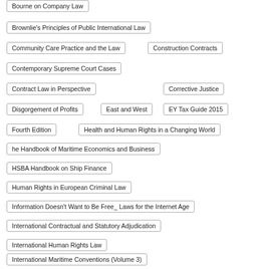Bourne on Company Law
Brownlie's Principles of Public International Law
Community Care Practice and the Law
Construction Contracts
Contemporary Supreme Court Cases
Contract Law in Perspective
Corrective Justice
Disgorgement of Profits
East and West
EY Tax Guide 2015
Fourth Edition
Health and Human Rights in a Changing World
he Handbook of Maritime Economics and Business
HSBA Handbook on Ship Finance
Human Rights in European Criminal Law
Information Doesn't Want to Be Free_ Laws for the Internet Age
International Contractual and Statutory Adjudication
International Human Rights Law
International Maritime Conventions (Volume 3)
International Sales Law A Guide to the CISG